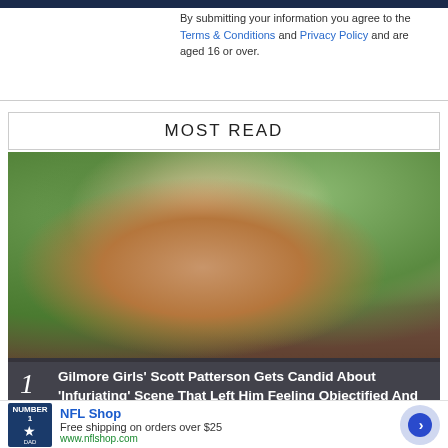By submitting your information you agree to the Terms & Conditions and Privacy Policy and are aged 16 or over.
MOST READ
[Figure (photo): Man wearing a backwards blue baseball cap and red plaid shirt, standing outdoors with green trees in the background]
1  Gilmore Girls' Scott Patterson Gets Candid About 'Infuriating' Scene That Left Him Feeling Objectified And Embarrassed
[Figure (infographic): Advertisement for NFL Shop showing navy blue Dallas Cowboys jersey with number 1, text: NFL Shop, Free shipping on orders over $25, www.nflshop.com]